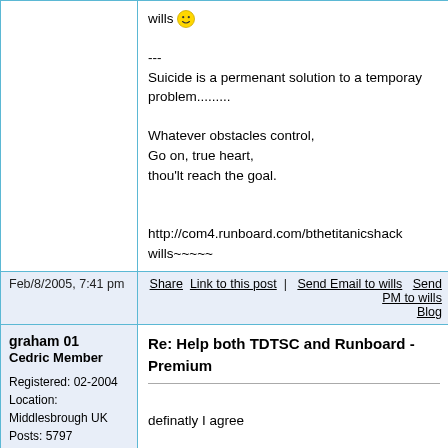wills :) --- Suicide is a permenant solution to a temporay problem......... Whatever obstacles control, Go on, true heart, thou'lt reach the goal. http://com4.runboard.com/bthetitanicshackwills~~~~~
Feb/8/2005, 7:41 pm
Share  Link to this post  |  Send Email to wills  Send PM to wills  Blog
graham 01
Cedric Member
Registered: 02-2004
Location: Middlesbrough UK
Posts: 5797
Reply | Quote
Re: Help both TDTSC and Runboard - Premium
definatly I agree
Graham
---
Why dont people do what they say nowadays
http://www.freewebs.com/hms-kellington/
http://www.freewebs.com/graham7760/index.htm
http://www.freewebs.com/hmsroyaloak/